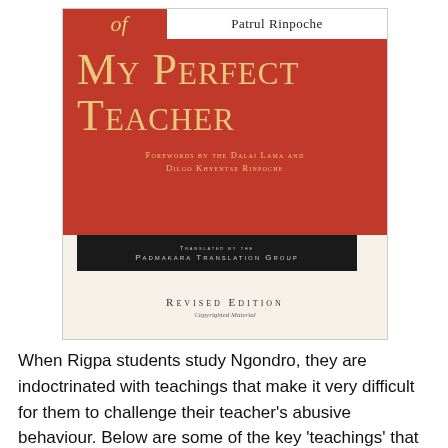[Figure (illustration): Book cover of 'Words of My Perfect Teacher' by Patrul Rinpoche. Red cover with gold lettering showing title in small-caps, forewords by the Dalai Lama and Dilgo Khyentse Rinpoche, translated by the Padmakara Translation Group, Revised Edition.]
When Rigpa students study Ngondro, they are indoctrinated with teachings that make it very difficult for them to challenge their teacher's abusive behaviour. Below are some of the key 'teachings' that supported the idea that we had to do whatever Sogyal asked of us and that everything he did, even if it didn't 'appear' to be in accord with the dharma was for our benefit. These